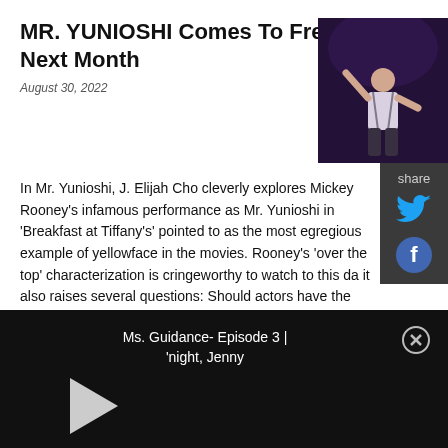MR. YUNIOSHI Comes To FreeFall Next Month
August 30, 2022
[Figure (photo): A performer on stage against a dark purple/blue background, gesturing with arms raised, wearing a white shirt with suspenders.]
In Mr. Yunioshi, J. Elijah Cho cleverly explores Mickey Rooney's infamous performance as Mr. Yunioshi in 'Breakfast at Tiffany's' pointed to as the most egregious example of yellowface in the movies. Rooney's 'over the top' characterization is cringeworthy to watch to this day it also raises several questions: Should actors have the opportunity to play role? Could there ever have been a 'right' way to play it? And what compels an actor to play a character that they really shouldn't be playing? Asian-American writer/performer J. Elijah Cho attempts to explore these topics and more in this poignant and funny satire.
[Figure (screenshot): Video player bar at the bottom showing: 'Ms. Guidance- Episode 3 | 'night, Jenny' with a play button and close button on black background.]